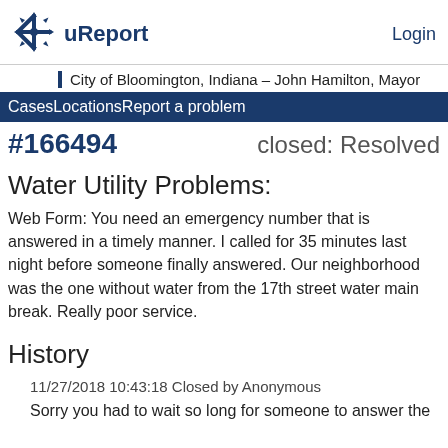uReport   Login
City of Bloomington, Indiana – John Hamilton, Mayor
CasesLocationsReport a problem
#166494   closed: Resolved
Water Utility Problems:
Web Form: You need an emergency number that is answered in a timely manner. I called for 35 minutes last night before someone finally answered. Our neighborhood was the one without water from the 17th street water main break. Really poor service.
History
11/27/2018 10:43:18 Closed by Anonymous
Sorry you had to wait so long for someone to answer the